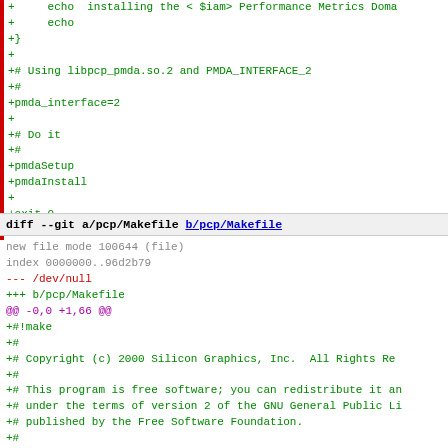+     echo  installing the < $iam>  Performance Metrics Doma...
+     echo
+}
+
+# Using libpcp_pmda.so.2 and PMDA_INTERFACE_2
+#
+pmda_interface=2
+
+# Do it
+#
+pmdaSetup
+pmdaInstall
+
+exit 0
diff --git a/pcp/Makefile b/pcp/Makefile
new file mode 100644 (file)
index 0000000..96d2b79
--- /dev/null
+++ b/pcp/Makefile
@@ -0,0 +1,66 @@
+#!make
+#
+# Copyright (c) 2000 Silicon Graphics, Inc.  All Rights Re...
+#
+# This program is free software; you can redistribute it a...
+# under the terms of version 2 of the GNU General Public L...
+# published by the Free Software Foundation.
+#
+# This program is distributed in the hope that it would be...
+# WITHOUT ANY WARRANTY; without even the implied warranty o...
+# MERCHANTABILITY or FITNESS FOR A PARTICULAR PURPOSE.